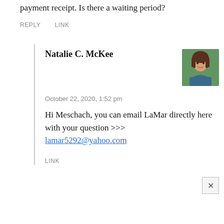not received the plans. I also sent an email with payment receipt. Is there a waiting period?
REPLY   LINK
Natalie C. McKee
[Figure (photo): Avatar photo of Natalie C. McKee, a woman with long brown hair, smiling, against a green outdoor background]
October 22, 2020, 1:52 pm
Hi Meschach, you can email LaMar directly here with your question >>> lamar5292@yahoo.com
LINK